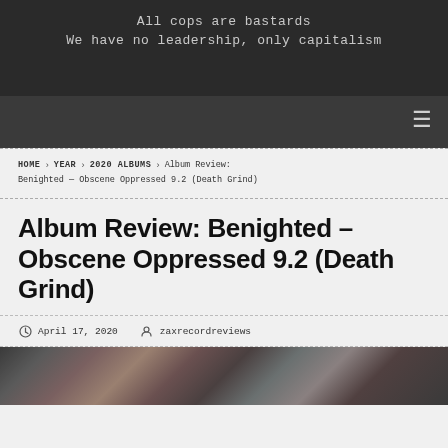All cops are bastards
We have no leadership, only capitalism
HOME › YEAR › 2020 ALBUMS › Album Review: Benighted — Obscene Oppressed 9.2 (Death Grind)
Album Review: Benighted – Obscene Oppressed 9.2 (Death Grind)
April 17, 2020   zaxrecordreviews
[Figure (illustration): Dark illustrated album artwork visible at bottom of page]